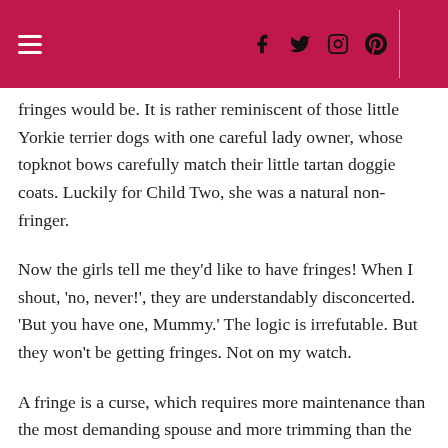Navigation header with hamburger menu, social icons (Facebook, Twitter, Instagram, Pinterest), and search icon
fringes would be. It is rather reminiscent of those little Yorkie terrier dogs with one careful lady owner, whose topknot bows carefully match their little tartan doggie coats. Luckily for Child Two, she was a natural non-fringer.
Now the girls tell me they’d like to have fringes! When I shout, ‘no, never!’, they are understandably disconcerted. ‘But you have one, Mummy.’ The logic is irrefutable. But they won’t be getting fringes. Not on my watch.
A fringe is a curse, which requires more maintenance than the most demanding spouse and more trimming than the most manicured lawn. And it is very hard to escape from. Only this morning, I was thinking, yet again, of growing out my fringe. This afternoon, I found myself in the bathroom,